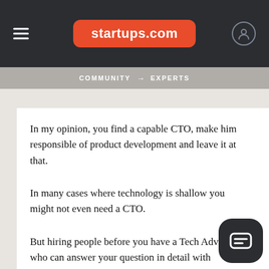startups.com
COMMUNITY → EXPERTS
The rest is really none of your business as a CEO.
In my opinion, you find a capable CTO, make him responsible of product development and leave it at that.
In many cases where technology is shallow you might not even need a CTO.
But hiring people before you have a Tech Advisor, who can answer your question in detail with understanding of your specifics, is likely going to create problems.
Last but not least, I believe the recipe in the first answer is far off the mark: two full stack engineers, one UX and one front end is way too much for most